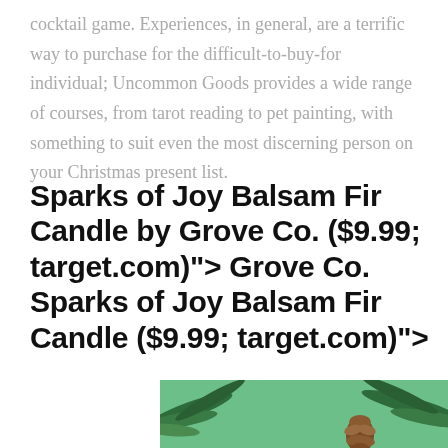cocktail game. Experiences, in general, are a terrific way to purchase for the difficult-to-buy-for individual; Uncommon Goods provides a wide range of courses, from tarot reading to pet painting, with something to suit even the most discerning person on your Christmas present list.
Sparks of Joy Balsam Fir Candle by Grove Co. ($9.99; target.com)"> Grove Co. Sparks of Joy Balsam Fir Candle ($9.99; target.com)">
[Figure (photo): Partial view of a product image showing green pine branches and a pinecone on a teal/mint background, bottom portion of page cropped]